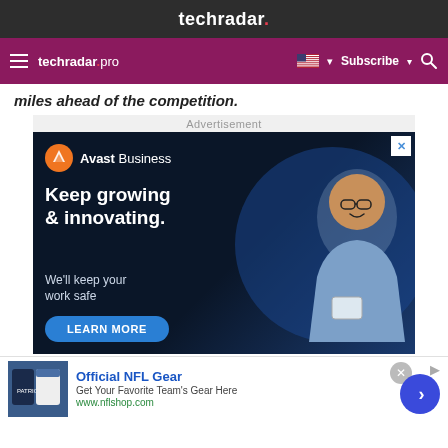techradar.
techradar pro   Subscribe
miles ahead of the competition.
Advertisement
[Figure (photo): Avast Business advertisement: Keep growing & innovating. We'll keep your work safe. LEARN MORE. Shows a smiling man with glasses holding a tablet.]
[Figure (photo): Official NFL Gear - Get Your Favorite Team's Gear Here - www.nflshop.com. Shows NFL jerseys. Bottom banner ad.]